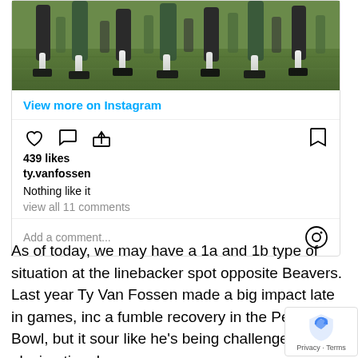[Figure (photo): Football players legs and cleats on a grass field, cropped to show only lower legs and feet]
View more on Instagram
[Figure (infographic): Instagram action bar with heart, comment, share icons on left and bookmark icon on right]
439 likes
ty.vanfossen
Nothing like it
view all 11 comments
Add a comment...
As of today, we may have a 1a and 1b type of situation at the linebacker spot opposite Beavers. Last year Ty Van Fossen made a big impact late in games, inc a fumble recovery in the Peach Bowl, but it sour like he's being challenged for playing time by